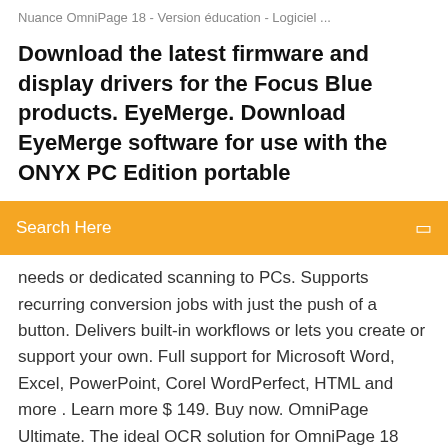Nuance OmniPage 18 - Version éducation - Logiciel ...
Download the latest firmware and display drivers for the Focus Blue products. EyeMerge. Download EyeMerge software for use with the ONYX PC Edition portable
[Figure (screenshot): Orange search bar with 'Search Here' placeholder text and a search icon on the right]
needs or dedicated scanning to PCs. Supports recurring conversion jobs with just the push of a button. Delivers built-in workflows or lets you create or support your own. Full support for Microsoft Word, Excel, PowerPoint, Corel WordPerfect, HTML and more . Learn more $ 149. Buy now. OmniPage Ultimate. The ideal OCR solution for OmniPage 18 Software Download - OmniPage … OmniPage 18 is an entry-level scanning, document conversion, and OCR productivity application. It converts paper, picture, and PDF files into editable documents to save you considerable time and money by